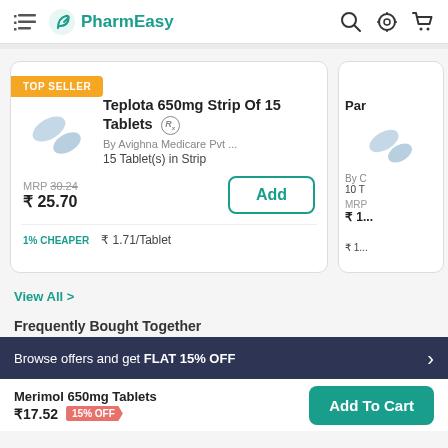PharmEasy
[Figure (screenshot): Product card for Teplota 650mg Strip Of 15 Tablets with TOP SELLER badge, pill image, pricing MRP 30.24 now ₹25.70, Add button, 1% CHEAPER, ₹1.71/Tablet]
[Figure (screenshot): Partial product card for another product (Par...) with pill image, partially visible]
View All >
Frequently Bought Together
Browse offers and get FLAT 15% OFF
Merimol 650mg Tablets ₹17.52 15% OFF
Add To Cart